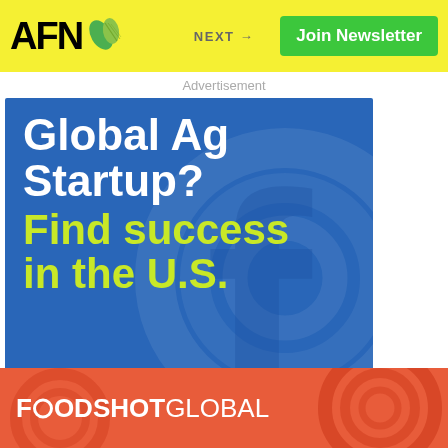AFN — NEXT → Join Newsletter
Advertisement
[Figure (illustration): Cultivo Virtual Academy advertisement on blue background. Text: 'Global Ag Startup? Find success in the U.S.' with cultivo logo and VIRTUAL ACADEMY text.]
Advertisement
[Figure (logo): FOODSHOT GLOBAL logo on orange/red background with decorative patterns]